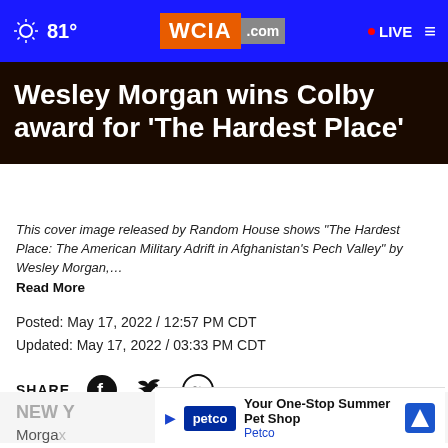☀ 81° | WCIA.com | LIVE
Wesley Morgan wins Colby award for 'The Hardest Place'
This cover image released by Random House shows "The Hardest Place: The American Military Adrift in Afghanistan's Pech Valley" by Wesley Morgan,… Read More
Posted: May 17, 2022 / 12:57 PM CDT
Updated: May 17, 2022 / 03:33 PM CDT
SHARE [Facebook] [Twitter] [WhatsApp] [...]
NEW Y...
Morga...                        by